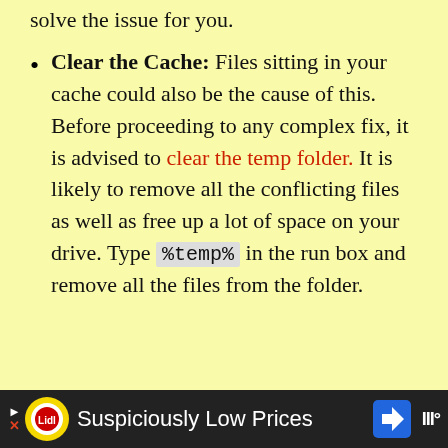solve the issue for you.
Clear the Cache: Files sitting in your cache could also be the cause of this. Before proceeding to any complex fix, it is advised to clear the temp folder. It is likely to remove all the conflicting files as well as free up a lot of space on your drive. Type %temp% in the run box and remove all the files from the folder.
Suspiciously Low Prices